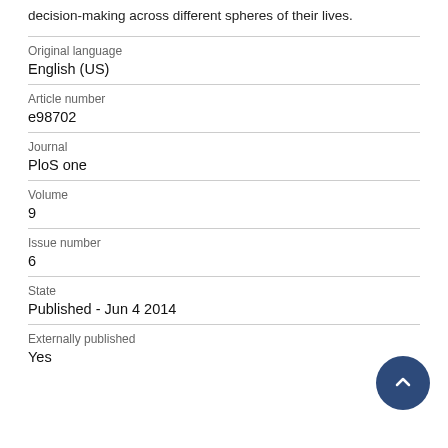decision-making across different spheres of their lives.
Original language
English (US)
Article number
e98702
Journal
PloS one
Volume
9
Issue number
6
State
Published - Jun 4 2014
Externally published
Yes